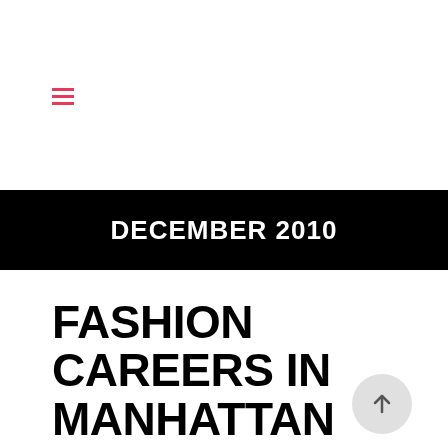☰
DECEMBER 2010
FASHION CAREERS IN MANHATTAN
December 22nd, 2010 . Comments Off on Fashion Careers in Manhattan
Please submit a resume if you are interested in a Fashion Job in NYC. NEW Fashion Job Opportunity!! We are searching for a Fashion